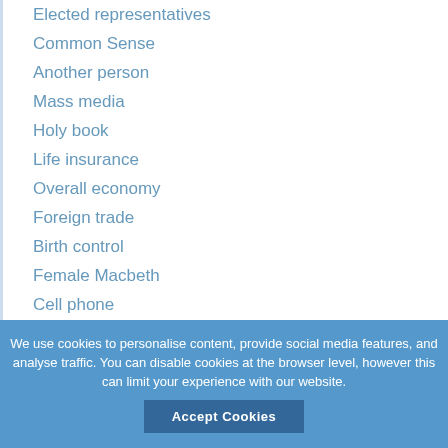Elected representatives
Common Sense
Another person
Mass media
Holy book
Life insurance
Overall economy
Foreign trade
Birth control
Female Macbeth
Cell phone
Product service
We use cookies to personalise content, provide social media features, and analyse traffic. You can disable cookies at the browser level, however this can limit your experience with our website.
Accept Cookies